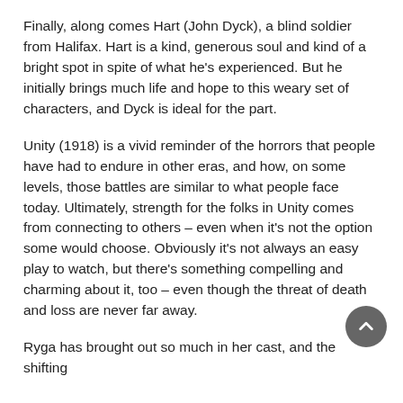Finally, along comes Hart (John Dyck), a blind soldier from Halifax. Hart is a kind, generous soul and kind of a bright spot in spite of what he's experienced. But he initially brings much life and hope to this weary set of characters, and Dyck is ideal for the part.
Unity (1918) is a vivid reminder of the horrors that people have had to endure in other eras, and how, on some levels, those battles are similar to what people face today. Ultimately, strength for the folks in Unity comes from connecting to others – even when it's not the option some would choose. Obviously it's not always an easy play to watch, but there's something compelling and charming about it, too – even though the threat of death and loss are never far away.
Ryga has brought out so much in her cast, and the shifting